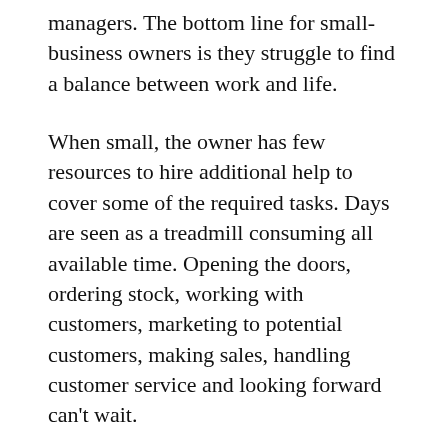managers. The bottom line for small-business owners is they struggle to find a balance between work and life.
When small, the owner has few resources to hire additional help to cover some of the required tasks. Days are seen as a treadmill consuming all available time. Opening the doors, ordering stock, working with customers, marketing to potential customers, making sales, handling customer service and looking forward can’t wait.
As such, small-business owners get frustrated with the lack of control and not being able to have a “life.” And home-based business owners feel it even more.